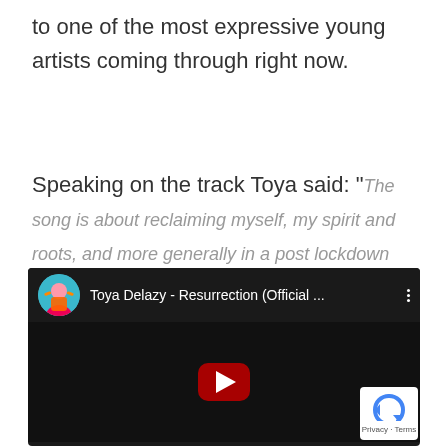to one of the most expressive young artists coming through right now.
Speaking on the track Toya said: “The song is about reclaiming myself, my spirit and roots, and more generally in a post lockdown world, the global rebirth, AKA we’re all going to be party animals.”
[Figure (screenshot): YouTube video embed showing Toya Delazy - Resurrection (Official ...) with a dark video thumbnail featuring a play button, channel avatar showing a woman in colorful outfit, and a reCAPTCHA privacy badge in the bottom right corner.]